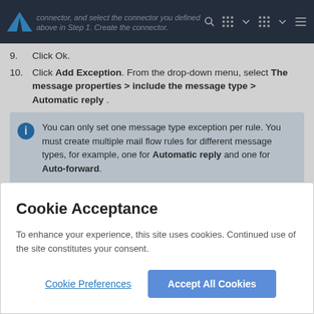connector, and select the connector you defined above in Step 1. Create the connector.
9. Click Ok.
10. Click Add Exception. From the drop-down menu, select The message properties > include the message type > Automatic reply .
You can only set one message type exception per rule. You must create multiple mail flow rules for different message types, for example, one for Automatic reply and one for Auto-forward.
Cookie Acceptance
To enhance your experience, this site uses cookies. Continued use of the site constitutes your consent.
Cookie Preferences
Accept All Cookies